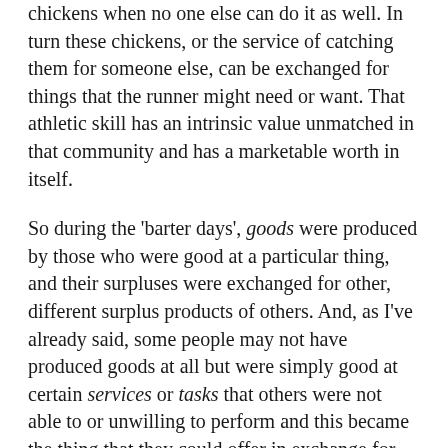chickens when no one else can do it as well. In turn these chickens, or the service of catching them for someone else, can be exchanged for things that the runner might need or want. That athletic skill has an intrinsic value unmatched in that community and has a marketable worth in itself.
So during the 'barter days', goods were produced by those who were good at a particular thing, and their surpluses were exchanged for other, different surplus products of others. And, as I've already said, some people may not have produced goods at all but were simply good at certain services or tasks that others were not able to or unwilling to perform and this became the thing that they could offer in exchange for something else, i.e. cleaning out the other person's sewage septic tank by their house or the sooty chimney.